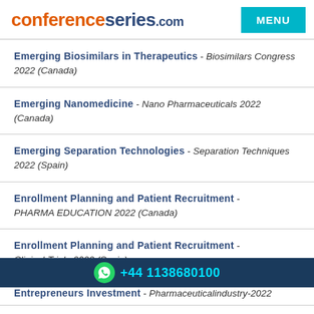conferenceseries.com MENU
Emerging Biosimilars in Therapeutics - Biosimilars Congress 2022 (Canada)
Emerging Nanomedicine - Nano Pharmaceuticals 2022 (Canada)
Emerging Separation Technologies - Separation Techniques 2022 (Spain)
Enrollment Planning and Patient Recruitment - PHARMA EDUCATION 2022 (Canada)
Enrollment Planning and Patient Recruitment - Clinical-Trials-2022 (Spain)
Entrepreneurs Investment - Pharmaceuticalindustry-2022
Entrepreneurs Investment Meet - Foundations 2022